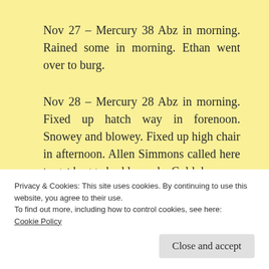Nov 27 – Mercury 38 Abz in morning. Rained some in morning. Ethan went over to burg.
Nov 28 – Mercury 28 Abz in morning. Fixed up hatch way in forenoon. Snowey and blowey. Fixed up high chair in afternoon. Allen Simmons called here to get buggy boddy made. Cold day.
Nov 29 – Mercury 15 Abz in morning, cold and
Privacy & Cookies: This site uses cookies. By continuing to use this website, you agree to their use.
To find out more, including how to control cookies, see here:
Cookie Policy
Close and accept